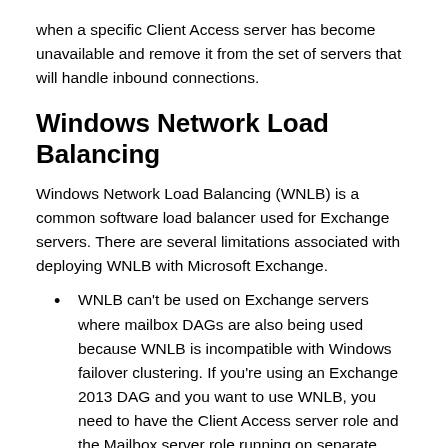when a specific Client Access server has become unavailable and remove it from the set of servers that will handle inbound connections.
Windows Network Load Balancing
Windows Network Load Balancing (WNLB) is a common software load balancer used for Exchange servers. There are several limitations associated with deploying WNLB with Microsoft Exchange.
WNLB can't be used on Exchange servers where mailbox DAGs are also being used because WNLB is incompatible with Windows failover clustering. If you're using an Exchange 2013 DAG and you want to use WNLB, you need to have the Client Access server role and the Mailbox server role running on separate servers.